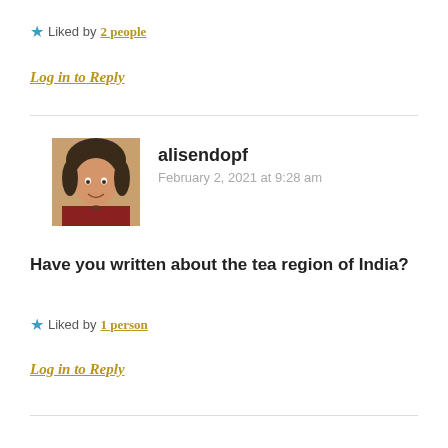★ Liked by 2 people
Log in to Reply
[Figure (photo): Avatar photo of alisendopf, a woman with curly dark hair wearing a red top]
alisendopf
February 2, 2021 at 9:28 am
Have you written about the tea region of India?
★ Liked by 1 person
Log in to Reply